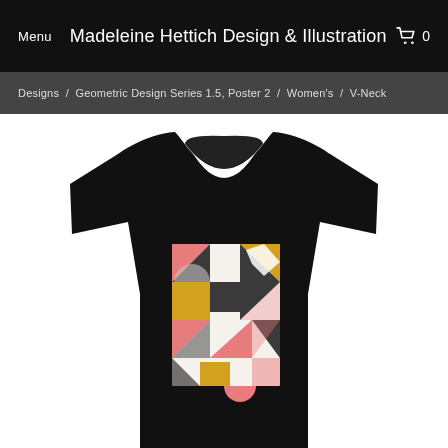Menu   Madeleine Hettich Design & Illustration   🛒 0
Designs / Geometric Design Series 1.5, Poster 2 / Women's / V-Neck
[Figure (photo): Product photo of a black women's v-neck t-shirt with a geometric design print on the chest. The print shows a grid of triangles, rectangles, and semi-circle shapes in salmon/pink, gold/yellow, dark charcoal/black, and white on a light background.]